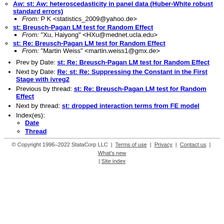Aw: st: Aw: heteroscedasticity in panel data (Huber-White robust standard errors) — From: P K <statistics_2009@yahoo.de>
st: Breusch-Pagan LM test for Random Effect — From: "Xu, Haiyong" <HXu@mednet.ucla.edu>
st: Re: Breusch-Pagan LM test for Random Effect — From: "Martin Weiss" <martin.weiss1@gmx.de>
Prev by Date: st: Re: Breusch-Pagan LM test for Random Effect
Next by Date: Re: st: Re: Suppressing the Constant in the First Stage with ivreg2
Previous by thread: st: Re: Breusch-Pagan LM test for Random Effect
Next by thread: st: dropped interaction terms from FE model
Index(es):
Date
Thread
© Copyright 1996–2022 StataCorp LLC | Terms of use | Privacy | Contact us | What's new | Site index